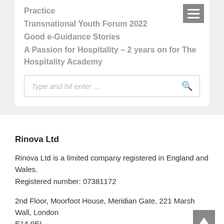Practice
Transnational Youth Forum 2022
Good e-Guidance Stories
A Passion for Hospitality – 2 years on for The Hospitality Academy
Rinova Ltd
Rinova Ltd is a limited company registered in England and Wales.
Registered number: 07381172

2nd Floor, Moorfoot House, Meridian Gate, 221 Marsh Wall, London
E14 9EL